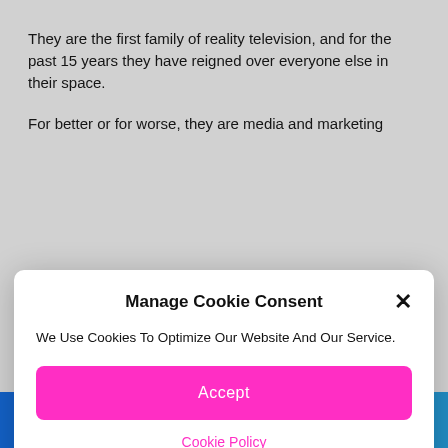They are the first family of reality television, and for the past 15 years they have reigned over everyone else in their space.
For better or for worse, they are media and marketing
Manage Cookie Consent
We Use Cookies To Optimize Our Website And Our Service.
Accept
Cookie Policy
with what appears to be basically the exact same show just on a different streaming service.